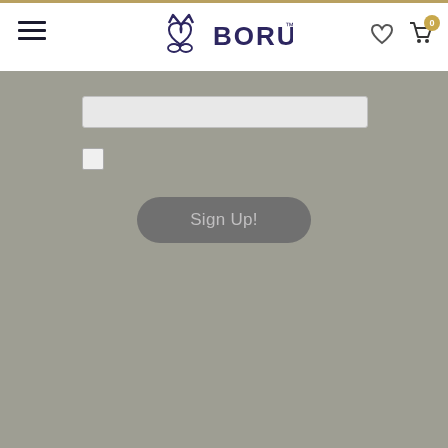[Figure (screenshot): Navigation header with hamburger menu on left, BORU logo in center, heart/cart icons on right]
[Figure (screenshot): Email input field (text box)]
[Figure (screenshot): Checkbox (unchecked)]
Sign Up!